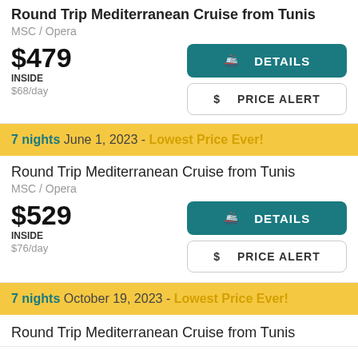Round Trip Mediterranean Cruise from Tunis
MSC / Opera
$479 INSIDE $68/day
7 nights June 1, 2023 - Lowest Price Ever!
Round Trip Mediterranean Cruise from Tunis
MSC / Opera
$529 INSIDE $76/day
7 nights October 19, 2023 - Lowest Price Ever!
Round Trip Mediterranean Cruise from Tunis